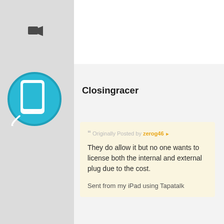[Figure (screenshot): Forum post screenshot showing user Closingracer replying with a quoted post from zerog46]
Closingracer
Originally Posted by zerog46
They do allow it but no one wants to license both the internal and external plug due to the cost.
Sent from my iPad using Tapatalk
From what I've read they don't...Either way its never going to happen
Sent from my iPhone using Tapatalk